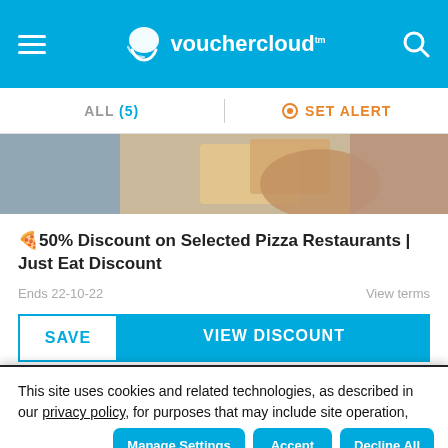vouchercloud
ALL (5)   SET ALERT
[Figure (photo): Food / pizza restaurant photo banner]
🍕50% Discount on Selected Pizza Restaurants | Just Eat Discount
Ends 22-10-22    View terms
SAVE   VIEW DISCOUNT
This site uses cookies and related technologies, as described in our privacy policy, for purposes that may include site operation, analytics, enhanced user experience, or advertising. You may choose to consent to our use of these technologies, or manage your own preferences.
Manage Settings   Accept   Decline All